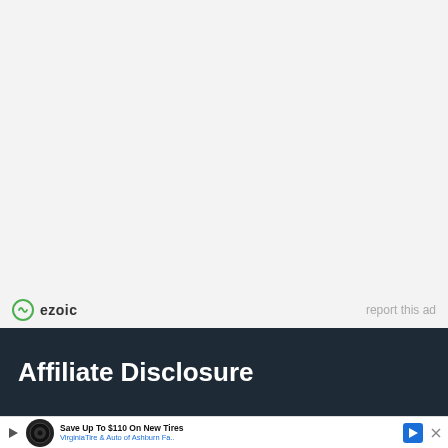[Figure (other): Ezoic advertisement placeholder area — light gray background]
ezoic   report this ad
Affiliate Disclosure
[Figure (other): Bottom advertisement banner: Save Up To $110 On New Tires — VirginiaTire & Auto of Ashburn Fa...]